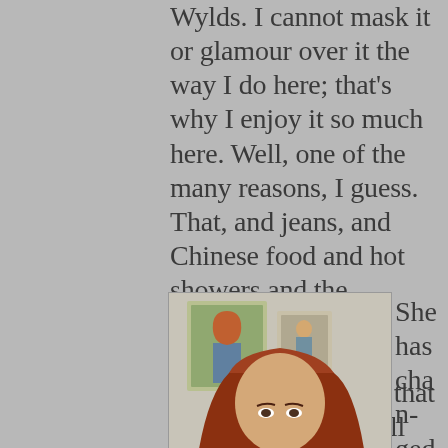Wylds. I cannot mask it or glamour over it the way I do here; that's why I enjoy it so much here. Well, one of the many reasons, I guess. That, and jeans, and Chinese food and hot showers and the Internet and mobile phones and about a million other things that feel so new to me, all over again.
[Figure (illustration): Digital illustration of a red-haired woman with paintings or portraits hanging on the wall behind her.]
She has changed so muc